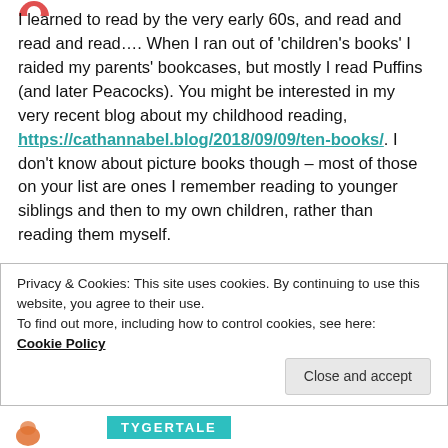I learned to read by the very early 60s, and read and read and read…. When I ran out of 'children's books' I raided my parents' bookcases, but mostly I read Puffins (and later Peacocks). You might be interested in my very recent blog about my childhood reading, https://cathannabel.blog/2018/09/09/ten-books/. I don't know about picture books though – most of those on your list are ones I remember reading to younger siblings and then to my own children, rather than reading them myself.
Privacy & Cookies: This site uses cookies. By continuing to use this website, you agree to their use.
To find out more, including how to control cookies, see here:
Cookie Policy
Close and accept
TYGERTALE